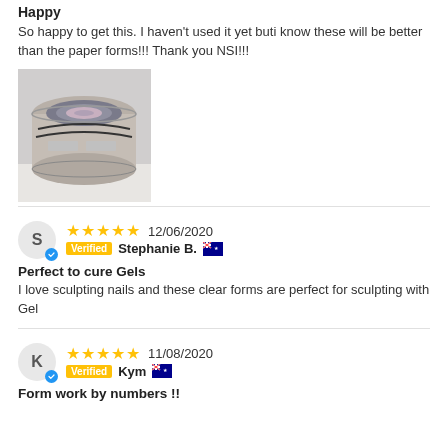Happy
So happy to get this. I haven't used it yet buti know these will be better than the paper forms!!! Thank you NSI!!!
[Figure (photo): Photo of a roll of nail forms in a clear container]
★★★★★ 12/06/2020 Verified Stephanie B. 🇦🇺
Perfect to cure Gels
I love sculpting nails and these clear forms are perfect for sculpting with Gel
★★★★★ 11/08/2020 Verified Kym 🇦🇺
Form work by numbers !!